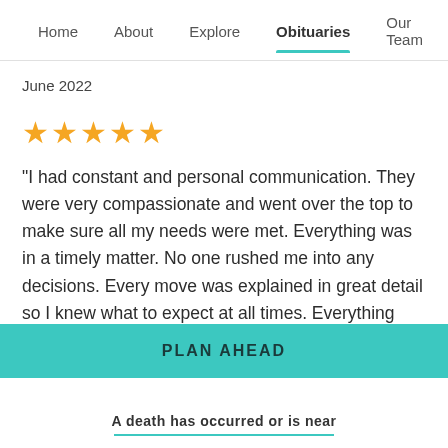Home   About   Explore   Obituaries   Our Team
June 2022
★★★★★
"I had constant and personal communication. They were very compassionate and went over the top to make sure all my needs were met. Everything was in a timely matter. No one rushed me into any decisions. Every move was explained in great detail so I knew what to expect at all times. Everything was wonderful. The staff
PLAN AHEAD
A death has occurred or is near